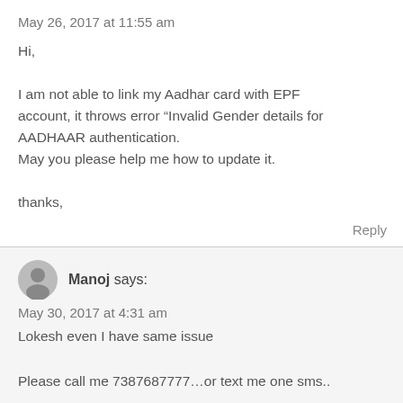May 26, 2017 at 11:55 am
Hi,

I am not able to link my Aadhar card with EPF account, it throws error “Invalid Gender details for AADHAAR authentication.
May you please help me how to update it.

thanks,
Reply
Manoj says:
May 30, 2017 at 4:31 am
Lokesh even I have same issue

Please call me 7387687777...or text me one sms..

Manoj